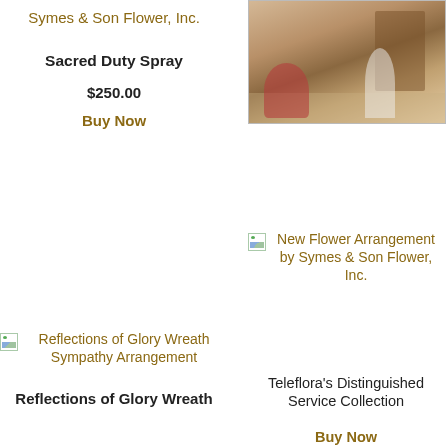Symes & Son Flower, Inc.
Sacred Duty Spray
$250.00
Buy Now
[Figure (photo): Funeral arrangement display with flowers near a casket in a chapel setting]
[Figure (photo): Broken image placeholder for New Flower Arrangement by Symes & Son Flower, Inc.]
New Flower Arrangement by Symes & Son Flower, Inc.
Teleflora's Distinguished Service Collection
Buy Now
[Figure (photo): Broken image placeholder for Reflections of Glory Wreath Sympathy Arrangement]
Reflections of Glory Wreath Sympathy Arrangement
Reflections of Glory Wreath